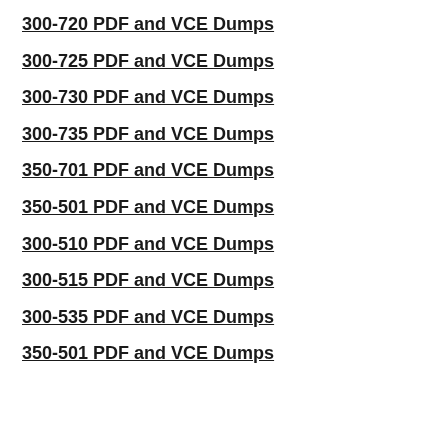300-720 PDF and VCE Dumps
300-725 PDF and VCE Dumps
300-730 PDF and VCE Dumps
300-735 PDF and VCE Dumps
350-701 PDF and VCE Dumps
350-501 PDF and VCE Dumps
300-510 PDF and VCE Dumps
300-515 PDF and VCE Dumps
300-535 PDF and VCE Dumps
350-501 PDF and VCE Dumps